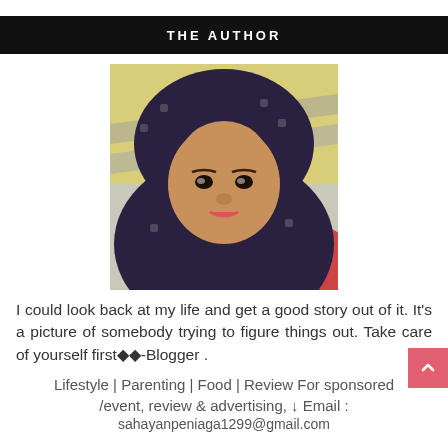THE AUTHOR
[Figure (photo): Portrait photo of a young woman wearing a dark patterned hijab, facing the camera, with a yellow and grey background.]
I could look back at my life and get a good story out of it. It's a picture of somebody trying to figure things out. Take care of yourself first◆◆-Blogger .
Lifestyle | Parenting | Food | Review For sponsored/event, review & advertising, ↓ Email :
sahayanpeniaga1299@gmail.com